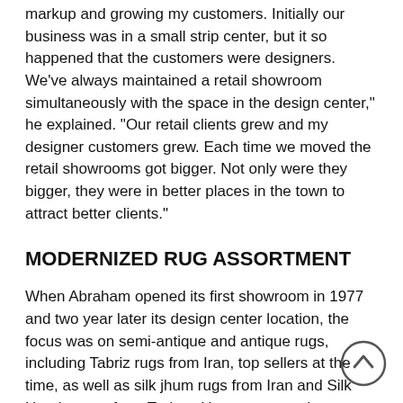markup and growing my customers. Initially our business was in a small strip center, but it so happened that the customers were designers. We've always maintained a retail showroom simultaneously with the space in the design center," he explained. "Our retail clients grew and my designer customers grew. Each time we moved the retail showrooms got bigger. Not only were they bigger, they were in better places in the town to attract better clients."
MODERNIZED RUG ASSORTMENT
When Abraham opened its first showroom in 1977 and two year later its design center location, the focus was on semi-antique and antique rugs, including Tabriz rugs from Iran, top sellers at the time, as well as silk jhum rugs from Iran and Silk Hereke rugs from Turkey. However, over the ensuing decades Abraham began expanding the showroom's range as it became more difficult to source rugs from Iran due to U.S. sanctions and to acquire Silke Herekes. So he began to cast his net wider traveling  to Pakistan, India, Nepal and Tibet to establish relationships rug weavers and rug collectors.